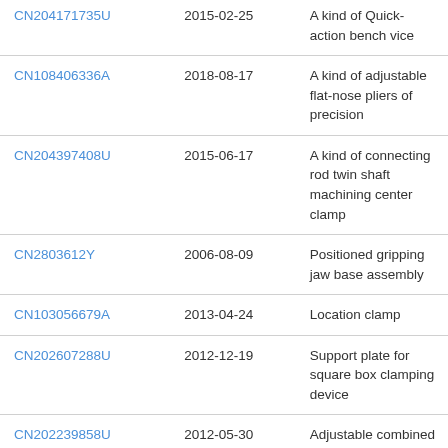| CN204171735U | 2015-02-25 | A kind of Quick-action bench vice |
| CN108406336A | 2018-08-17 | A kind of adjustable flat-nose pliers of precision |
| CN204397408U | 2015-06-17 | A kind of connecting rod twin shaft machining center clamp |
| CN2803612Y | 2006-08-09 | Positioned gripping jaw base assembly |
| CN103056679A | 2013-04-24 | Location clamp |
| CN202607288U | 2012-12-19 | Support plate for square box clamping device |
| CN202239858U | 2012-05-30 | Adjustable combined clamp special for milling machine |
| CN201970098U | 2011-09-14 | Clamping device |
| CN201677251U | 2010-12-22 | Movable jaw of vice |
| CN104191286B | 2016-03-09 | A kind of Quick-action... |